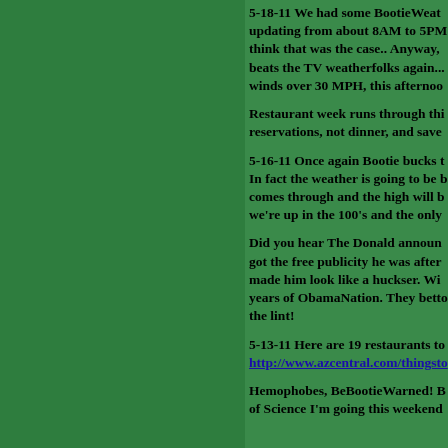5-18-11 We had some BootieWeat updating from about 8AM to 5PM think that was the case.. Anyway, beats the TV weatherfolks again... winds over 30 MPH, this afterno
Restaurant week runs through thi reservations, not dinner, and save
5-16-11 Once again Bootie bucks t In fact the weather is going to be comes through and the high will b we're up in the 100's and the only
Did you hear The Donald announ got the free publicity he was after made him look like a huckser. Wi years of ObamaNation. They bett the lint!
5-13-11 Here are 19 restaurants to http://www.azcentral.com/thingsto
Hemophobes, BeBootieWarned! B of Science I'm going this weekend